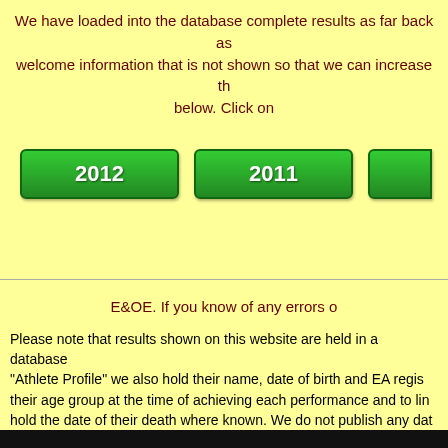We have loaded into the database complete results as far back as welcome information that is not shown so that we can increase th below. Click on
[Figure (other): Three green year-buttons: 2012, 2011, and a partial third button]
E&OE. If you know of any errors o
Please note that results shown on this website are held in a database "Athlete Profile" we also hold their name, date of birth and EA regis their age group at the time of achieving each performance and to lin hold the date of their death where known. We do not publish any dat information should contact Webmaster.